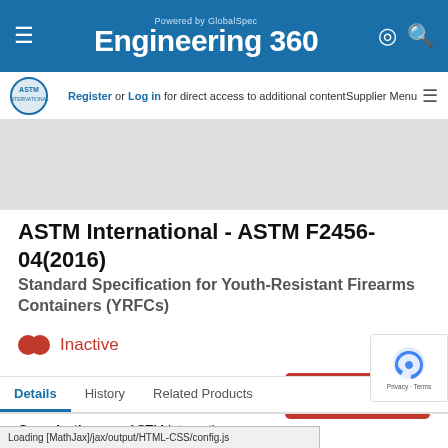Engineering 360 - Powered by GlobalSpec
Register or Log in for direct access to additional content  Supplier Menu
[Figure (logo): ASTM International logo]
ASTM International - ASTM F2456-04(2016)
Standard Specification for Youth-Resistant Firearms Containers (YRFCs)
Inactive
BUY NOW
Details  History  Related Products
Organization:  ASTM Internationa...
Loading [MathJax]/jax/output/HTML-CSS/config.js